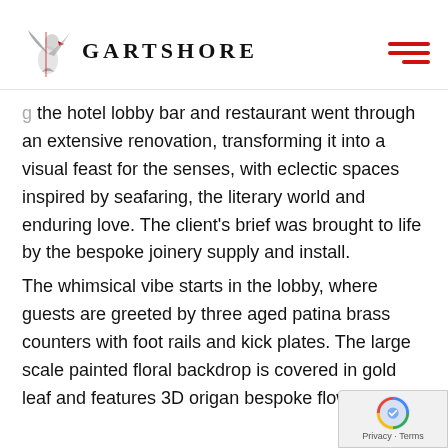[Figure (logo): Gartshore logo with eagle/bird graphic above the text and stylized lettering]
the hotel lobby bar and restaurant went through an extensive renovation, transforming it into a visual feast for the senses, with eclectic spaces inspired by seafaring, the literary world and enduring love. The client's brief was brought to life by the bespoke joinery supply and install.
The whimsical vibe starts in the lobby, where guests are greeted by three aged patina brass counters with foot rails and kick plates. The large scale painted floral backdrop is covered in gold leaf and features 3D origami bespoke flower lights.